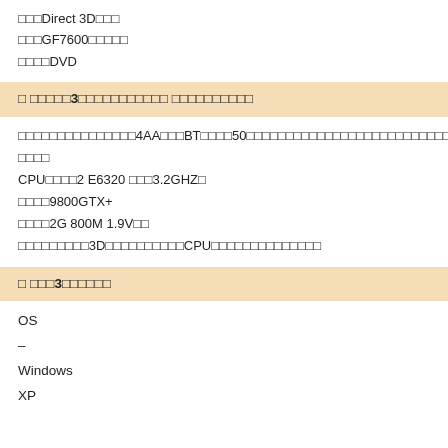□□□Direct 3D□□□
□□□GF7600□□□□□
□□□□DVD
□ □□□□□3□□□□□□□□□□□ □□□□□□□□□□
□□□□□□□□□□□□□□□4AA□□□BT□□□□50□□□□□□□□□□□□□□□□□□□□□□□□□□□□□
□□□□
CPU□□□□2 E6320 □□□3.2GHZ□
□□□□9800GTX+
□□□□2G 800M 1.9V□□
□□□□□□□□□3D□□□□□□□□□□CPU□□□□□□□□□□□□□□
□ □□□3□□□□□□
OS
–
Windows
XP